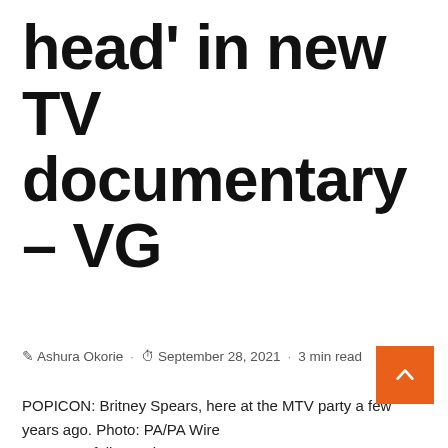head' in new TV documentary – VG
Ashura Okorie · September 28, 2021 · 3 min read
POPICON: Britney Spears, here at the MTV party a few years ago. Photo: PA/PA Wire
"It's crazy, folks," Britney Spears, 39, wrote on Instagram.

Posted:

Updated less than 50 minutes ago